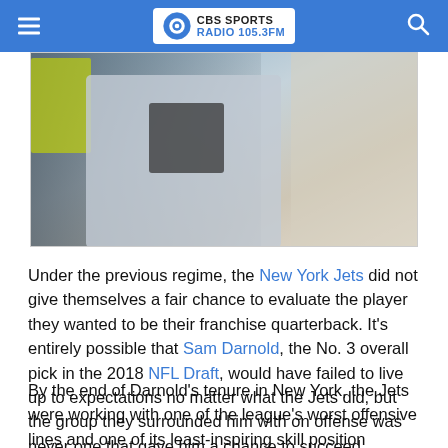CBS Sports Radio 105.3FM
[Figure (photo): A football player in a grey jersey with a dark number, partially obscured, with a yellow element visible on the left side of the image]
Under the previous regime, the New York Jets did not give themselves a fair chance to evaluate the player they wanted to be their franchise quarterback. It's entirely possible that Sam Darnold, the No. 3 overall pick in the 2018 NFL Draft, would have failed to live up to expectations no matter what the Jets did, but the group they surrounded him with on offense was never one that gave him a chance to succeed.
By the end of Darnold's tenure in New York, the Jets were working with one of the league's worst offensive lines and one of its least-inspiring skill position groups. It was ugly. Fast forward a little more than a year, and the Jets have put